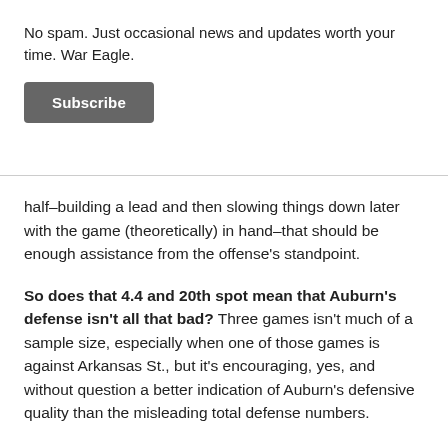No spam. Just occasional news and updates worth your time. War Eagle.
Subscribe
half-building a lead and then slowing things down later with the game (theoretically) in hand–that should be enough assistance from the offense's standpoint.
So does that 4.4 and 20th spot mean that Auburn's defense isn't all that bad? Three games isn't much of a sample size, especially when one of those games is against Arkansas St., but it's encouraging, yes, and without question a better indication of Auburn's defensive quality than the misleading total defense numbers.
If Auburn's offense was really the ninth-best in the